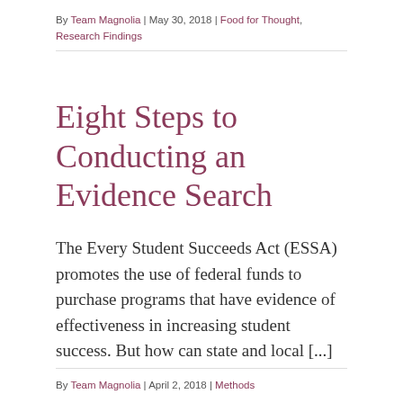By Team Magnolia | May 30, 2018 | Food for Thought, Research Findings
Eight Steps to Conducting an Evidence Search
The Every Student Succeeds Act (ESSA) promotes the use of federal funds to purchase programs that have evidence of effectiveness in increasing student success. But how can state and local [...]
By Team Magnolia | April 2, 2018 | Methods